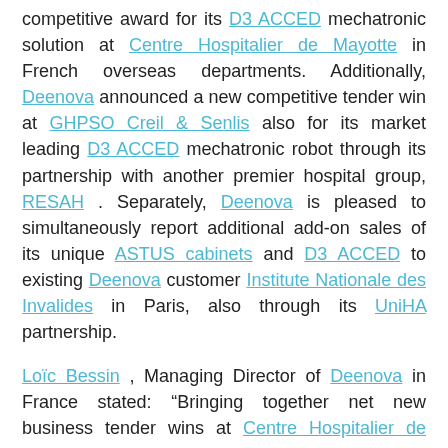competitive award for its D3 ACCED mechatronic solution at Centre Hospitalier de Mayotte in French overseas departments. Additionally, Deenova announced a new competitive tender win at GHPSO Creil & Senlis also for its market leading D3 ACCED mechatronic robot through its partnership with another premier hospital group, RESAH . Separately, Deenova is pleased to simultaneously report additional add-on sales of its unique ASTUS cabinets and D3 ACCED to existing Deenova customer Institute Nationale des Invalides in Paris, also through its UniHA partnership.
Loïc Bessin , Managing Director of Deenova in France stated: “Bringing together net new business tender wins at Centre Hospitalier de Mayotte and GHPSO Creil & Senlis for our D3 ACCED mechatronic solutions, while at the same time earning the trust of additional sales to previous Deenova ASTUS customers such as Institute Nationale des Invalides is steady